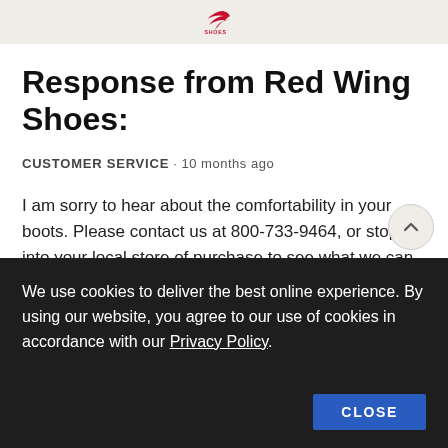Red Wing Shoes
Response from Red Wing Shoes:
CUSTOMER SERVICE · 10 months ago
I am sorry to hear about the comfortability in your boots. Please contact us at 800-733-9464, or stop into your local store of purchase to see what we can do to assist you further,
We use cookies to deliver the best online experience. By using our website, you agree to our use of cookies in accordance with our Privacy Policy.